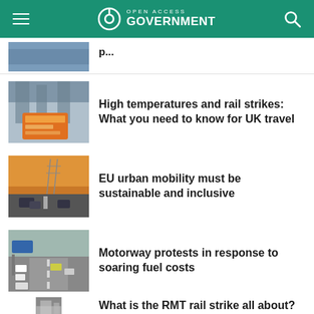Open Access Government
[Figure (screenshot): Partially visible article thumbnail at top]
High temperatures and rail strikes: What you need to know for UK travel
EU urban mobility must be sustainable and inclusive
Motorway protests in response to soaring fuel costs
What is the RMT rail strike all about?